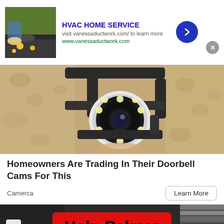[Figure (screenshot): Top advertisement banner for HVAC Home Service with thumbnail image, title, visit URL, green URL, blue arrow button, and close button]
[Figure (photo): Close-up photo of a security camera mounted on a wall bracket against a textured stone/stucco wall]
Homeowners Are Trading In Their Doorbell Cams For This
Camerca
[Figure (screenshot): Help Palmer promotional banner with red background on dark background, chevron down indicator on left, striped pattern on right]
[Figure (screenshot): Firestone tire advertisement: Get Up To $110 Off a Set of 4 Select Firestone Tires with tire & auto logo and blue arrow button]